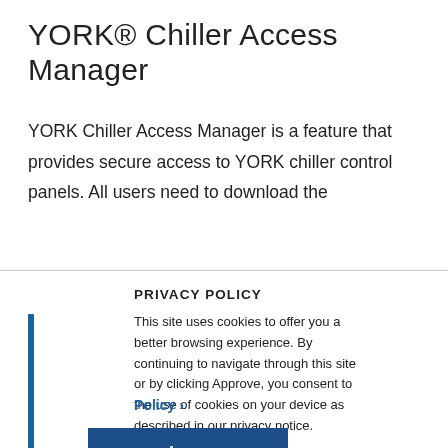YORK® Chiller Access Manager
YORK Chiller Access Manager is a feature that provides secure access to YORK chiller control panels. All users need to download the
PRIVACY POLICY
This site uses cookies to offer you a better browsing experience. By continuing to navigate through this site or by clicking Approve, you consent to the use of cookies on your device as described in our privacy notice.
Policy >
Agree